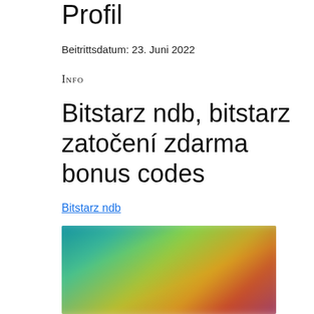Profil
Beitrittsdatum: 23. Juni 2022
Info
Bitstarz ndb, bitstarz zatočení zdarma bonus codes
Bitstarz ndb
[Figure (photo): Blurred colorful gaming or entertainment screenshot with characters on a teal/blue background]